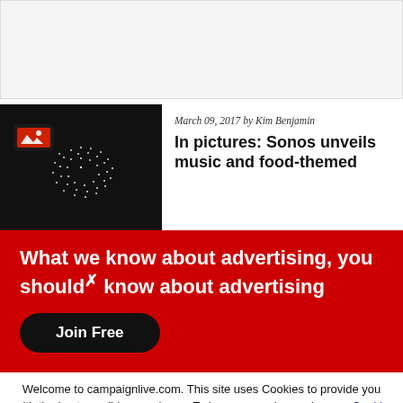[Figure (screenshot): Gray/white top area, likely ad or header placeholder]
[Figure (photo): Black display with white swirling dot pattern (Sonos advertisement)]
March 09, 2017 by Kim Benjamin
In pictures: Sonos unveils music and food-themed
What we know about advertising, you should know about advertising
Join Free
Welcome to campaignlive.com. This site uses Cookies to provide you with the best possible experience. To learn more please view our Cookie Notice.
Close
by Kim Benjamin